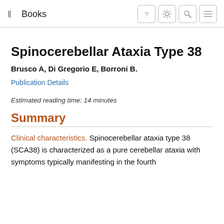Books
Spinocerebellar Ataxia Type 38
Brusco A, Di Gregorio E, Borroni B.
Publication Details
Estimated reading time: 14 minutes
Summary
Clinical characteristics. Spinocerebellar ataxia type 38 (SCA38) is characterized as a pure cerebellar ataxia with symptoms typically manifesting in the fourth